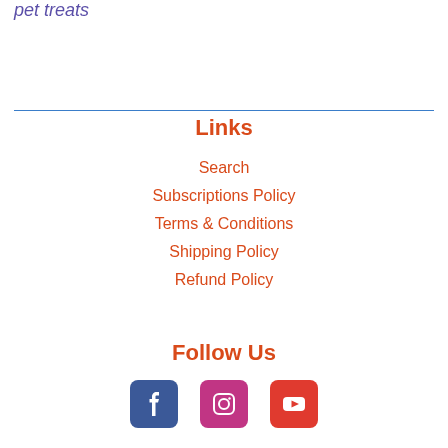pet treats
Links
Search
Subscriptions Policy
Terms & Conditions
Shipping Policy
Refund Policy
Follow Us
[Figure (illustration): Social media icons: Facebook, Instagram, YouTube]